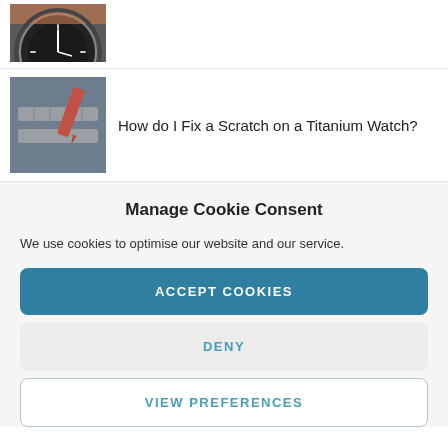[Figure (photo): Partial view of a dark watch face being held, cropped at top]
[Figure (photo): Watch with red tool/pen being used on bracelet links]
How do I Fix a Scratch on a Titanium Watch?
Manage Cookie Consent
We use cookies to optimise our website and our service.
ACCEPT COOKIES
DENY
VIEW PREFERENCES